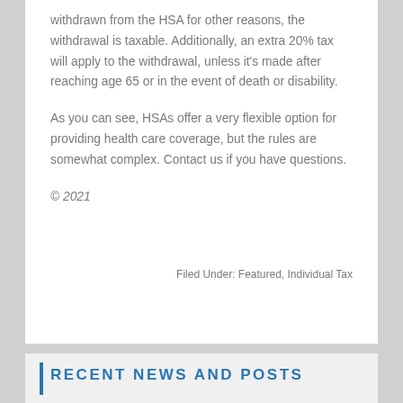withdrawn from the HSA for other reasons, the withdrawal is taxable. Additionally, an extra 20% tax will apply to the withdrawal, unless it's made after reaching age 65 or in the event of death or disability.
As you can see, HSAs offer a very flexible option for providing health care coverage, but the rules are somewhat complex. Contact us if you have questions.
© 2021
Filed Under: Featured, Individual Tax
RECENT NEWS AND POSTS